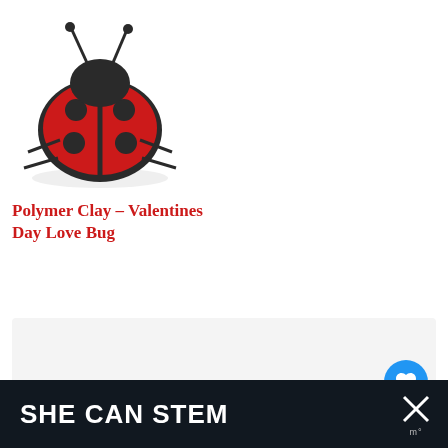[Figure (photo): Polymer clay ladybug figurine — red body with black dots and black head/legs on a white background]
Polymer Clay – Valentines Day Love Bug
[Figure (screenshot): Content card/slide area with light gray background and three pagination dots at center]
[Figure (infographic): WHAT'S NEXT panel with thumbnail image and text 'Nail Polish Seashells']
[Figure (infographic): SHE CAN STEM advertisement banner on dark background with X close button]